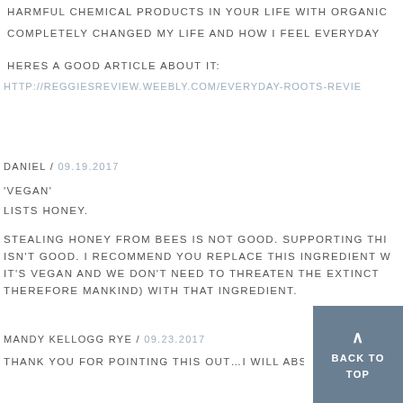HARMFUL CHEMICAL PRODUCTS IN YOUR LIFE WITH ORGANIC
COMPLETELY CHANGED MY LIFE AND HOW I FEEL EVERYDAY
HERES A GOOD ARTICLE ABOUT IT:
HTTP://REGGIESREVIEW.WEEBLY.COM/EVERYDAY-ROOTS-REVIE
DANIEL / 09.19.2017
'VEGAN'
LISTS HONEY.
STEALING HONEY FROM BEES IS NOT GOOD. SUPPORTING THI ISN'T GOOD. I RECOMMEND YOU REPLACE THIS INGREDIENT IT'S VEGAN AND WE DON'T NEED TO THREATEN THE EXTINCT THEREFORE MANKIND) WITH THAT INGREDIENT.
MANDY KELLOGG RYE / 09.23.2017
THANK YOU FOR POINTING THIS OUT…I WILL ABSO